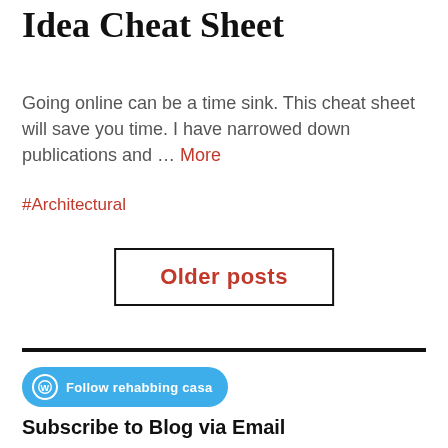Idea Cheat Sheet
Going online can be a time sink. This cheat sheet will save you time. I have narrowed down publications and … More
#Architectural
Older posts
Follow rehabbing casa
Subscribe to Blog via Email